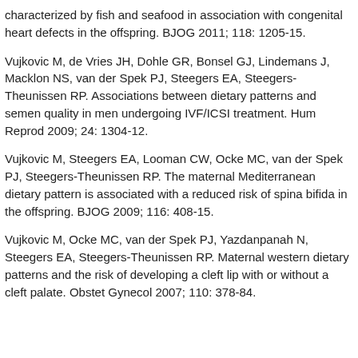characterized by fish and seafood in association with congenital heart defects in the offspring. BJOG 2011; 118: 1205-15.
Vujkovic M, de Vries JH, Dohle GR, Bonsel GJ, Lindemans J, Macklon NS, van der Spek PJ, Steegers EA, Steegers-Theunissen RP. Associations between dietary patterns and semen quality in men undergoing IVF/ICSI treatment. Hum Reprod 2009; 24: 1304-12.
Vujkovic M, Steegers EA, Looman CW, Ocke MC, van der Spek PJ, Steegers-Theunissen RP. The maternal Mediterranean dietary pattern is associated with a reduced risk of spina bifida in the offspring. BJOG 2009; 116: 408-15.
Vujkovic M, Ocke MC, van der Spek PJ, Yazdanpanah N, Steegers EA, Steegers-Theunissen RP. Maternal western dietary patterns and the risk of developing a cleft lip with or without a cleft palate. Obstet Gynecol 2007; 110: 378-84.